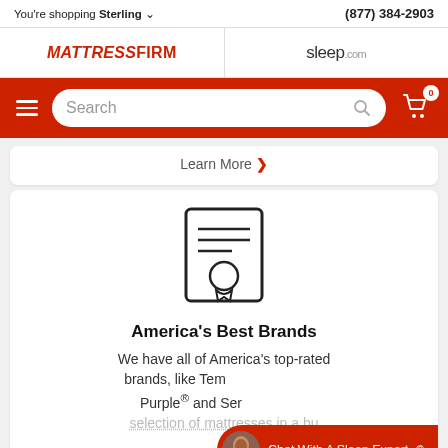You're shopping Sterling  (877) 384-2903
[Figure (logo): MattressFirm logo on left, sleep.com logo on right]
[Figure (screenshot): Red navigation bar with hamburger menu, search box, and cart icon with 0 badge]
Learn More ›
[Figure (illustration): Certificate/award icon with horizontal lines and seal]
America's Best Brands
We have all of America's top-rated brands, like Temp Purple® and Ser selection of mattresses in a bu
Chat With A Sleep Expert®